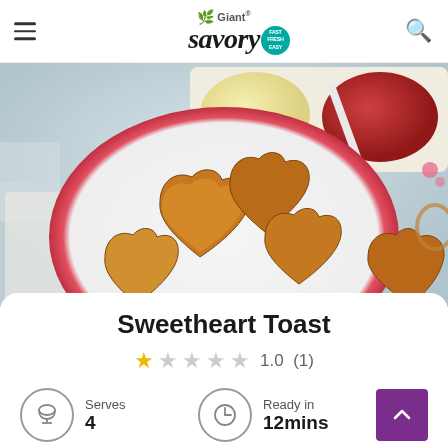Giant savory — Fast Fresh Easy
[Figure (photo): Heart-shaped toast pieces arranged on a plate with red-rimmed edge, with butter and jam/preserve in bowls in the background, on a white rustic surface]
Sweetheart Toast
1.0  (1)
Serves
4
Ready in
12mins